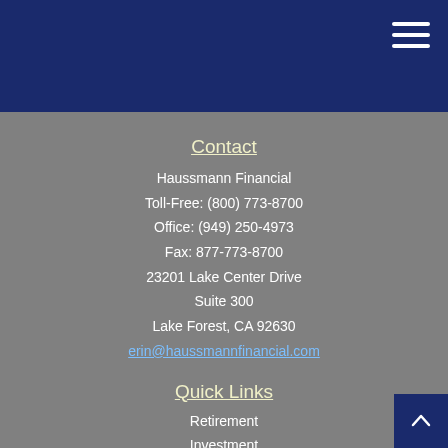Haussmann Financial – navigation header
Contact
Haussmann Financial
Toll-Free: (800) 773-8700
Office: (949) 250-4973
Fax: 877-773-8700
23201 Lake Center Drive
Suite 300
Lake Forest, CA 92630
erin@haussmannfinancial.com
Quick Links
Retirement
Investment
Estate
Insurance